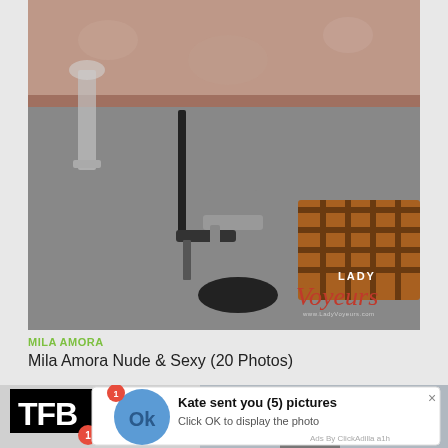[Figure (photo): Photo showing high heels on a carpet floor near a sofa, with 'Lady Voyeurs' watermark in the bottom right corner]
MILA AMORA
Mila Amora Nude & Sexy (20 Photos)
[Figure (screenshot): Screenshot showing TFB logo with notification badge, a man's photo, and a popup ad notification saying 'Kate sent you (5) pictures - Click OK to display the photo' with an OK button graphic and 'Ads By ClickAdilla a1h' footer]